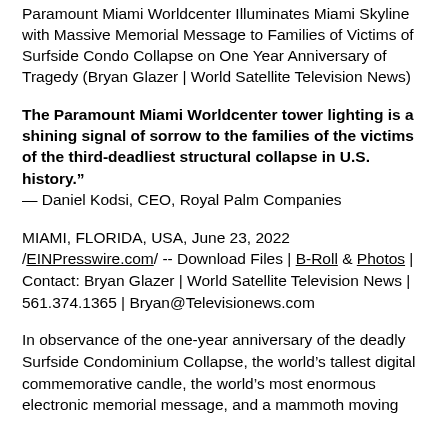Paramount Miami Worldcenter Illuminates Miami Skyline with Massive Memorial Message to Families of Victims of Surfside Condo Collapse on One Year Anniversary of Tragedy (Bryan Glazer | World Satellite Television News)
The Paramount Miami Worldcenter tower lighting is a shining signal of sorrow to the families of the victims of the third-deadliest structural collapse in U.S. history." — Daniel Kodsi, CEO, Royal Palm Companies
MIAMI, FLORIDA, USA, June 23, 2022 /EINPresswire.com/ -- Download Files | B-Roll & Photos | Contact: Bryan Glazer | World Satellite Television News | 561.374.1365 | Bryan@Televisionews.com
In observance of the one-year anniversary of the deadly Surfside Condominium Collapse, the world's tallest digital commemorative candle, the world's most enormous electronic memorial message, and a mammoth moving